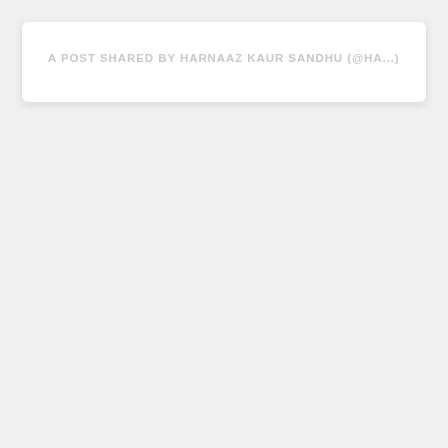A POST SHARED BY HARNAAZ KAUR SANDHU (@HA...)